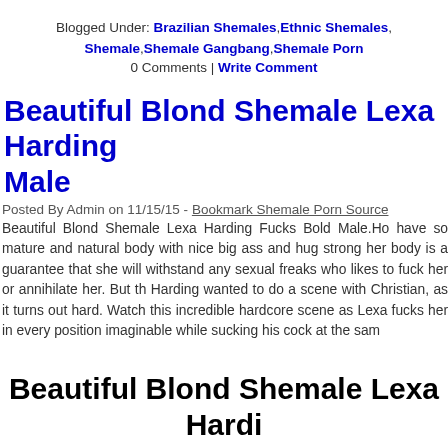Blogged Under: Brazilian Shemales,Ethnic Shemales, Shemale,Shemale Gangbang,Shemale Porn
0 Comments | Write Comment
Beautiful Blond Shemale Lexa Harding Fucks Bold Male
Posted By Admin on 11/15/15 - Bookmark Shemale Porn Source
Beautiful Blond Shemale Lexa Harding Fucks Bold Male.Ho have so mature and natural body with nice big ass and hug strong her body is a guarantee that she will withstand any sexual freaks who likes to fuck her or annihilate her. But th Harding wanted to do a scene with Christian, as it turns out hard. Watch this incredible hardcore scene as Lexa fucks her in every position imaginable while sucking his cock at the sam
Beautiful Blond Shemale Lexa Hardi Male